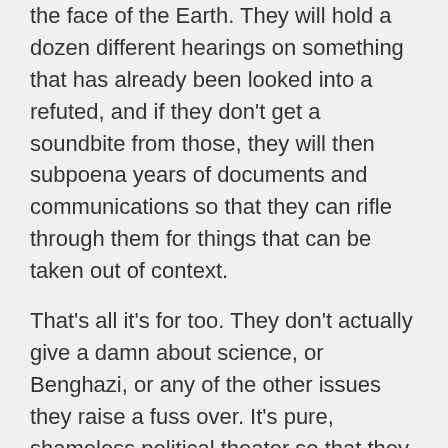the face of the Earth. They will hold a dozen different hearings on something that has already been looked into a refuted, and if they don't get a soundbite from those, they will then subpoena years of documents and communications so that they can rifle through them for things that can be taken out of context.
That's all it's for too. They don't actually give a damn about science, or Benghazi, or any of the other issues they raise a fuss over. It's pure, shameless political theater so that they can use recordings of the hearings in campaign ads and claim that they're "being tough on liberals" to their base and donors.
Well, not just political theater, I suppose. There's another element of it too. They're trying to send a message. Don't do science about politically controversial subjects, or you run the risk of having a congressional inquisition come down on top of you, the company/university you work for, and just about everyone you've worked with for the past few years. That part worries me the